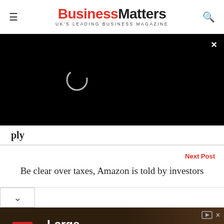Business Matters — UK'S LEADING BUSINESS MAGAZINE
[Figure (screenshot): Black video overlay with loading spinner and close (×) button in top-right corner]
ply
Next Post
Be clear over taxes, Amazon is told by investors
[Figure (infographic): Advertisement for King Oil Tools: Large Inventory of Drill Rig Equipment →, with red K logo on dark brown background and background photo of drill equipment]